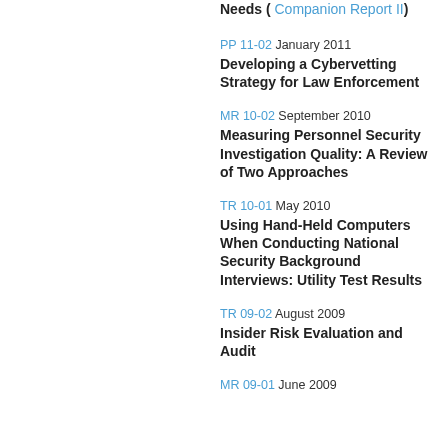Needs ( Companion Report II)
PP 11-02 January 2011
Developing a Cybervetting Strategy for Law Enforcement
MR 10-02 September 2010
Measuring Personnel Security Investigation Quality: A Review of Two Approaches
TR 10-01 May 2010
Using Hand-Held Computers When Conducting National Security Background Interviews: Utility Test Results
TR 09-02 August 2009
Insider Risk Evaluation and Audit
MR 09-01 June 2009